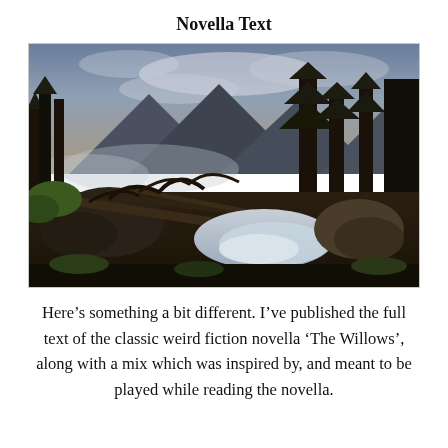Novella Text
[Figure (illustration): A romantic landscape oil painting depicting a wild forest scene with dark coniferous trees, rocky outcrops, a rushing waterfall or rapids in the foreground center-right, fallen twisted tree trunks, misty mountains in the background, and dramatic cloudy sky.]
Here’s something a bit different. I’ve published the full text of the classic weird fiction novella ‘The Willows’, along with a mix which was inspired by, and meant to be played while reading the novella.